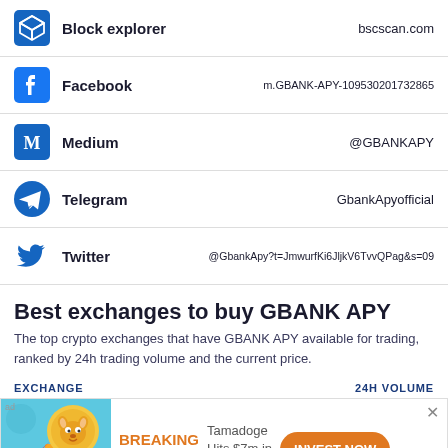Block explorer — bscscan.com
Facebook — m.GBANK-APY-109530201732865
Medium — @GBANKAPY
Telegram — GbankApyofficial
Twitter — @GbankApy?t=JmwurfKi6JljkV6TvvQPag&s=09
Best exchanges to buy GBANK APY
The top crypto exchanges that have GBANK APY available for trading, ranked by 24h trading volume and the current price.
| EXCHANGE | 24H VOLUME |
| --- | --- |
[Figure (infographic): Advertisement banner: Breaking News - Tamadoge Hits $7m in Presale - INVEST NOW button]
BREAKING NEWS — Tamadoge Hits $7m in Presale — INVEST NOW